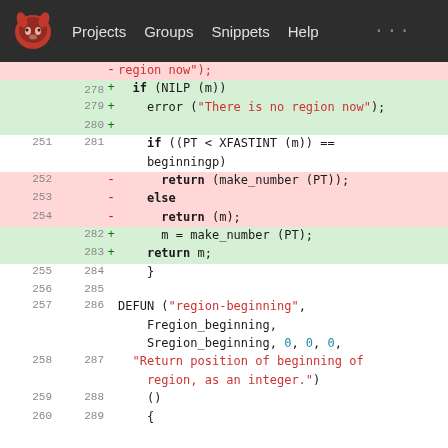[Figure (screenshot): GitLab-style navigation bar with logo, Projects, Groups, Snippets, Help links on dark background]
Code diff view showing changes to Emacs region-beginning function. Lines 278-288 shown with old/new line numbers, additions in green and deletions in red.